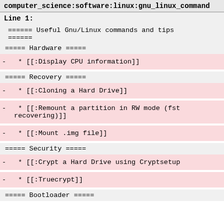computer_science:software:linux:gnu_linux_command
Line 1:
====== Useful Gnu/Linux commands and tips
======
===== Hardware =====
-   * [[:Display CPU information]]
===== Recovery =====
-   * [[:Cloning a Hard Drive]]
-   * [[:Remount a partition in RW mode (fst
recovering)]]
-   * [[:Mount .img file]]
===== Security =====
-   * [[:Crypt a Hard Drive using Cryptsetup
-   * [[:Truecrypt]]
===== Bootloader =====